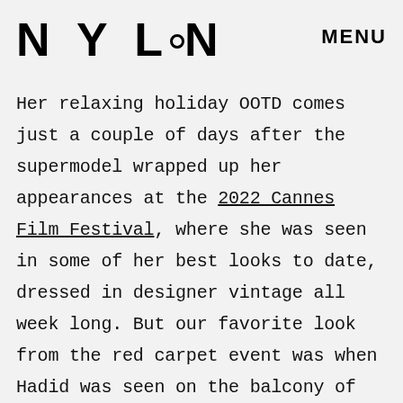NYLON   MENU
Her relaxing holiday OOTD comes just a couple of days after the supermodel wrapped up her appearances at the 2022 Cannes Film Festival, where she was seen in some of her best looks to date, dressed in designer vintage all week long. But our favorite look from the red carpet event was when Hadid was seen on the balcony of her hotel, wearing a corseted dress from Versace's Fall 2003 collection, which has been seen on Beyoncé, Devon